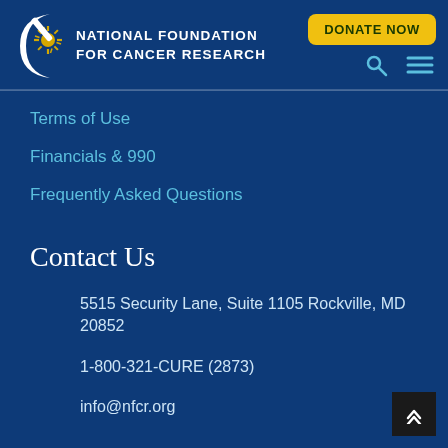[Figure (logo): National Foundation for Cancer Research logo with circular emblem and text]
DONATE NOW
Terms of Use
Financials & 990
Frequently Asked Questions
Contact Us
5515 Security Lane, Suite 1105 Rockville, MD 20852
1-800-321-CURE (2873)
info@nfcr.org